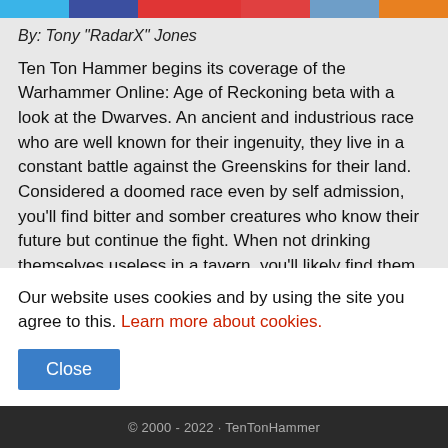Social share bar with colored segments: cyan, navy, red, red, blue, orange
By: Tony "RadarX" Jones
Ten Ton Hammer begins its coverage of the Warhammer Online: Age of Reckoning beta with a look at the Dwarves. An ancient and industrious race who are well known for their ingenuity, they live in a constant battle against the Greenskins for their land. Considered a doomed race even by self admission, you'll find bitter and somber creatures who know their future but continue the fight. When not drinking themselves useless in a tavern, you'll likely find them guarding military camps or involved in various
Our website uses cookies and by using the site you agree to this. Learn more about cookies.
Close
© 2000 - 2022 · TenTonHammer